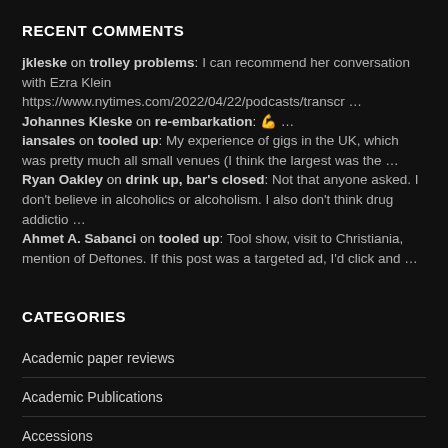RECENT COMMENTS
jkleske on trolley problems: I can recommend her conversation with Ezra Klein https://www.nytimes.com/2022/04/22/podcasts/transcr …
Johannes Kleske on re-embarkation: 💪 …
iansales on tooled up: My experience of gigs in the UK, which was pretty much all small venues (I think the largest was the …
Ryan Oakley on drink up, bar's closed: Not that anyone asked. I don't believe in alcoholics or alcoholism. I also don't think drug addictio …
Ahmet A. Sabanci on tooled up: Tool show, visit to Christiania, mention of Deftones. If this post was a targeted ad, I'd click and …
CATEGORIES
Academic paper reviews
Academic Publications
Accessions